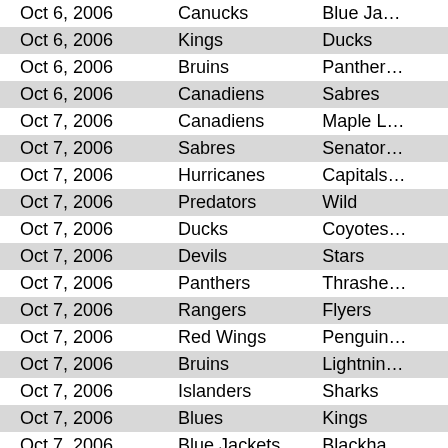| Date | Team 1 | Team 2 |
| --- | --- | --- |
| Oct 6, 2006 | Canucks | Blue Jackets |
| Oct 6, 2006 | Kings | Ducks |
| Oct 6, 2006 | Bruins | Panthers |
| Oct 6, 2006 | Canadiens | Sabres |
| Oct 7, 2006 | Canadiens | Maple Leafs |
| Oct 7, 2006 | Sabres | Senators |
| Oct 7, 2006 | Hurricanes | Capitals |
| Oct 7, 2006 | Predators | Wild |
| Oct 7, 2006 | Ducks | Coyotes |
| Oct 7, 2006 | Devils | Stars |
| Oct 7, 2006 | Panthers | Thrashers |
| Oct 7, 2006 | Rangers | Flyers |
| Oct 7, 2006 | Red Wings | Penguins |
| Oct 7, 2006 | Bruins | Lightning |
| Oct 7, 2006 | Islanders | Sharks |
| Oct 7, 2006 | Blues | Kings |
| Oct 7, 2006 | Blue Jackets | Blackhawks |
| Oct 7, 2006 | Oilers | Flames |
| Oct 8, 2006 | Canucks | Avalanche |
| Oct 9, 2006 | Sharks | Flames |
| Oct 9, 2006 | Blues | Ducks |
| Oct 9, 2006 | Coyotes | Blue Jackets |
| Oct 9, 2006 | Panthers | Maple Leafs |